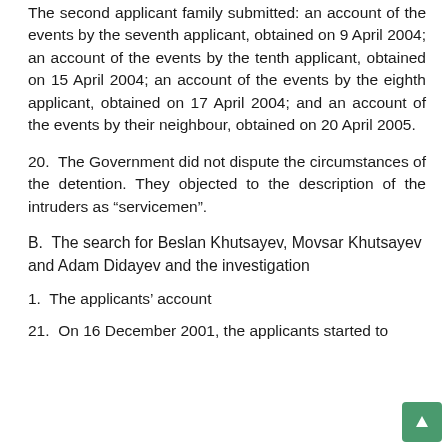The second applicant family submitted: an account of the events by the seventh applicant, obtained on 9 April 2004; an account of the events by the tenth applicant, obtained on 15 April 2004; an account of the events by the eighth applicant, obtained on 17 April 2004; and an account of the events by their neighbour, obtained on 20 April 2005.
20.  The Government did not dispute the circumstances of the detention. They objected to the description of the intruders as “servicemen”.
B.  The search for Beslan Khutsayev, Movsar Khutsayev and Adam Didayev and the investigation
1.  The applicants’ account
21.  On 16 December 2001, the applicants started to